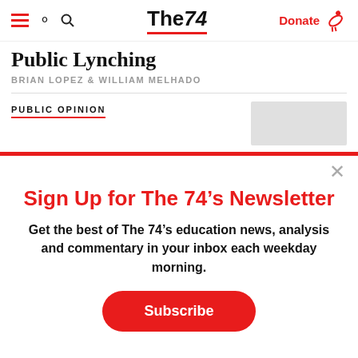The74 — Donate
Public Lynching
BRIAN LOPEZ & WILLIAM MELHADO
PUBLIC OPINION
Sign Up for The 74's Newsletter
Get the best of The 74's education news, analysis and commentary in your inbox each weekday morning.
Subscribe